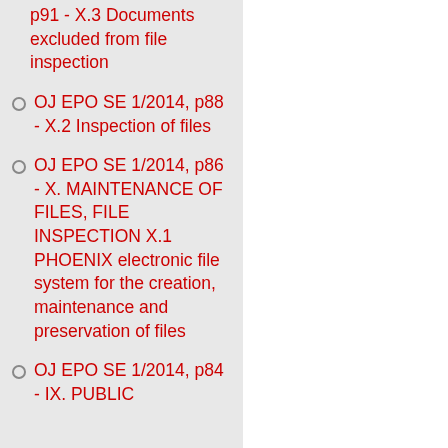p91 - X.3 Documents excluded from file inspection
OJ EPO SE 1/2014, p88 - X.2 Inspection of files
OJ EPO SE 1/2014, p86 - X. MAINTENANCE OF FILES, FILE INSPECTION X.1 PHOENIX electronic file system for the creation, maintenance and preservation of files
OJ EPO SE 1/2014, p84 - IX. PUBLIC